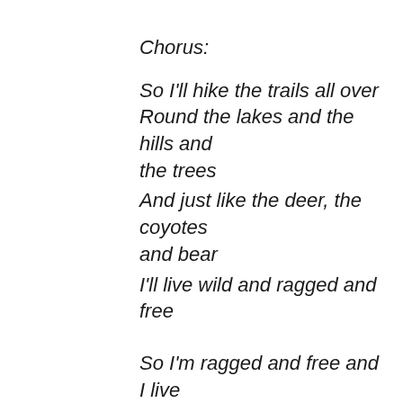Chorus:
So I'll hike the trails all over
Round the lakes and the hills and the trees
And just like the deer, the coyotes and bear
I'll live wild and ragged and free
So I'm ragged and free and I live by the sea
And I can't wait for the day to begin
My feet hit the floor and I'm soon